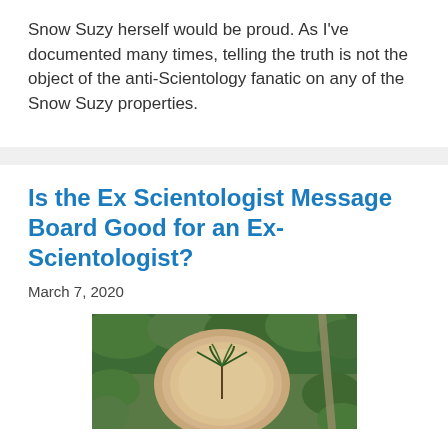Snow Suzy herself would be proud. As I've documented many times, telling the truth is not the object of the anti-Scientology fanatic on any of the Snow Suzy properties.
Is the Ex Scientologist Message Board Good for an Ex-Scientologist?
March 7, 2020
[Figure (photo): Aerial photograph showing a circular sandy or light-colored clearing surrounded by green trees and vegetation, with what appears to be a palm tree or similar plant in the center.]